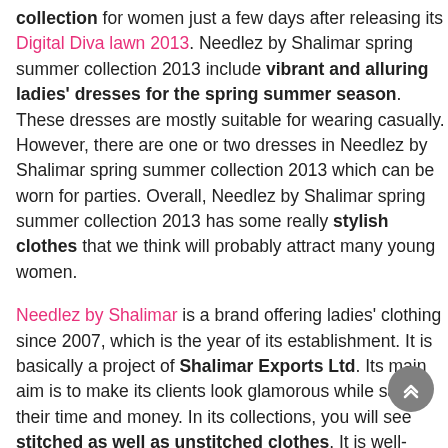collection for women just a few days after releasing its Digital Diva lawn 2013. Needlez by Shalimar spring summer collection 2013 include vibrant and alluring ladies' dresses for the spring summer season. These dresses are mostly suitable for wearing casually. However, there are one or two dresses in Needlez by Shalimar spring summer collection 2013 which can be worn for parties. Overall, Needlez by Shalimar spring summer collection 2013 has some really stylish clothes that we think will probably attract many young women.
Needlez by Shalimar is a brand offering ladies' clothing since 2007, which is the year of its establishment. It is basically a project of Shalimar Exports Ltd. Its main aim is to make its clients look glamorous while saving their time and money. In its collections, you will see stitched as well as unstitched clothes. It is well-known not only in Pakistan but abroad as well. Needlez by Shalimar sells